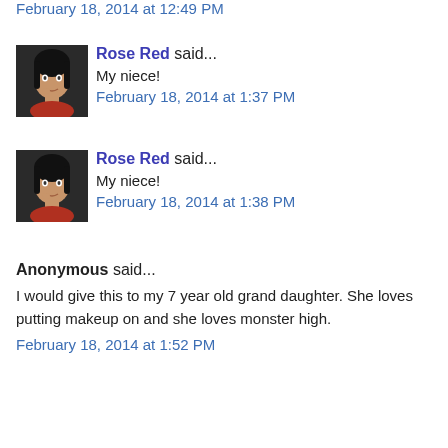February 18, 2014 at 12:49 PM
Rose Red said...
My niece!
February 18, 2014 at 1:37 PM
Rose Red said...
My niece!
February 18, 2014 at 1:38 PM
Anonymous said...
I would give this to my 7 year old grand daughter. She loves putting makeup on and she loves monster high.
February 18, 2014 at 1:52 PM